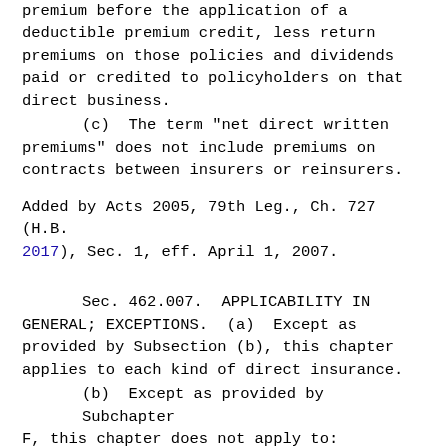premium before the application of a deductible premium credit, less return premiums on those policies and dividends paid or credited to policyholders on that direct business.
(c)  The term "net direct written premiums" does not include premiums on contracts between insurers or reinsurers.
Added by Acts 2005, 79th Leg., Ch. 727 (H.B. 2017), Sec. 1, eff. April 1, 2007.
Sec. 462.007.  APPLICABILITY IN GENERAL; EXCEPTIONS.  (a)  Except as provided by Subsection (b), this chapter applies to each kind of direct insurance.
(b)  Except as provided by Subchapter F, this chapter does not apply to:
(1)  life, annuity, health, or disability insurance;